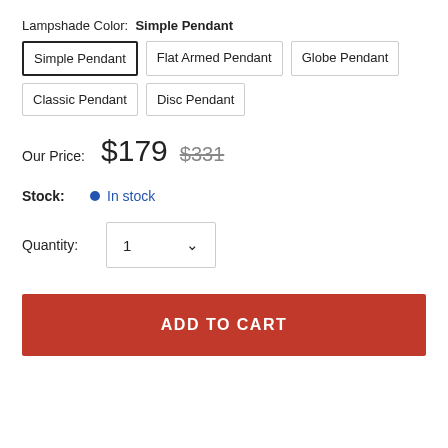Lampshade Color: Simple Pendant
Simple Pendant (selected)
Flat Armed Pendant
Globe Pendant
Classic Pendant
Disc Pendant
Our Price: $179  $331 (strikethrough)
Stock: • In stock
Quantity: 1
ADD TO CART